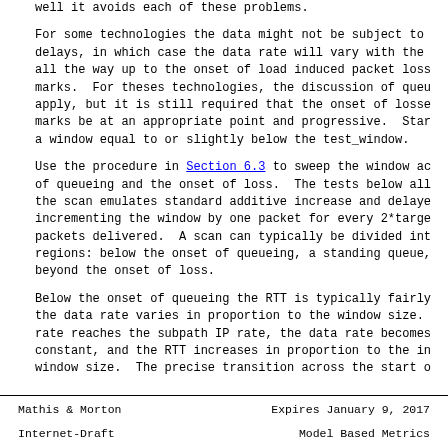well it avoids each of these problems.
For some technologies the data might not be subject to delays, in which case the data rate will vary with the all the way up to the onset of load induced packet loss marks.  For theses technologies, the discussion of queu apply, but it is still required that the onset of losse marks be at an appropriate point and progressive.  Star a window equal to or slightly below the test_window.
Use the procedure in Section 6.3 to sweep the window ac of queueing and the onset of loss.  The tests below all the scan emulates standard additive increase and delaye incrementing the window by one packet for every 2*targe packets delivered.  A scan can typically be divided int regions: below the onset of queueing, a standing queue, beyond the onset of loss.
Below the onset of queueing the RTT is typically fairly the data rate varies in proportion to the window size. rate reaches the subpath IP rate, the data rate becomes constant, and the RTT increases in proportion to the in window size.  The precise transition across the start o
Mathis & Morton                 Expires January 9, 2017
Internet-Draft                  Model Based Metrics